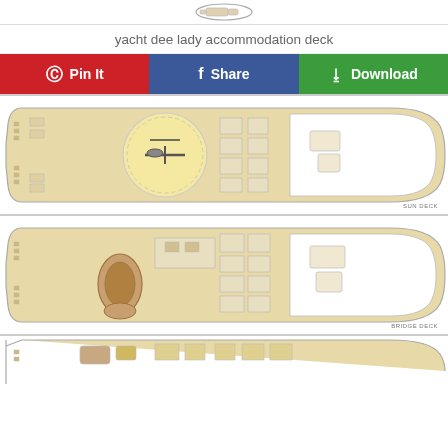[Figure (illustration): Small top-view yacht icon/logo at the top of the page]
yacht dee lady accommodation deck
[Figure (other): Row of three buttons: Pin It (red/Pinterest), Share (blue/Facebook), Download (green)]
[Figure (engineering-diagram): Top-down deck plan of yacht Sun Deck showing helipad with helicopter, seating areas, interior rooms, and deck label 'SUN DECK' at bottom right]
[Figure (engineering-diagram): Top-down deck plan of yacht Bridge Deck showing saloon, dining, interior cabins, and deck label 'BRIDGE DECK' at bottom right]
[Figure (engineering-diagram): Top-down deck plan of yacht lower deck (partially visible at bottom of page)]